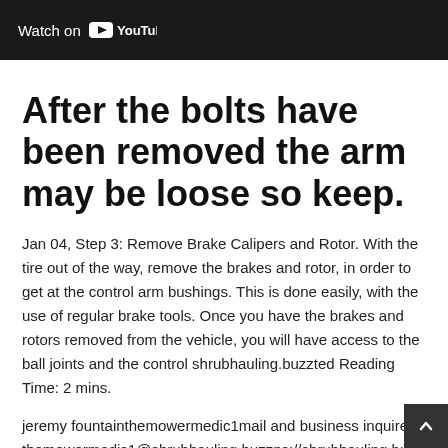[Figure (screenshot): YouTube video embed thumbnail with dark background and 'Watch on YouTube' overlay text with YouTube logo icon]
After the bolts have been removed the arm may be loose so keep.
Jan 04, Step 3: Remove Brake Calipers and Rotor. With the tire out of the way, remove the brakes and rotor, in order to get at the control arm bushings. This is done easily, with the use of regular brake tools. Once you have the brakes and rotors removed from the vehicle, you will have access to the ball joints and the control shrubhauling.buzzted Reading Time: 2 mins.
jeremy fountainthemowermedic1mail and business inquires themowermedic1@shrubhauling.buzzps://shrubhauling.buzz